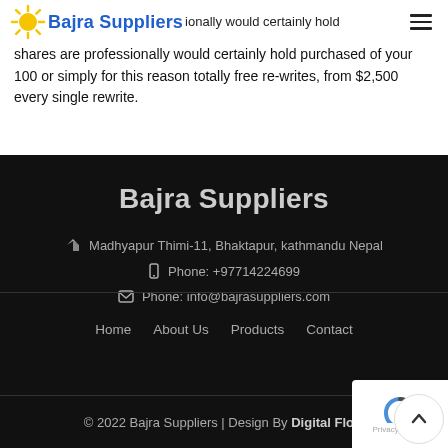Bajra Suppliers
shares are professionally would certainly hold purchased of your 100 or simply for this reason totally free re-writes, from $2,500 every single rewrite.
Bajra Suppliers
Madhyapur Thimi-11, Bhaktapur, kathmandu Nepal
Phone: +97714224699
Phone: info@bajrasuppliers.com
Home   About Us   Products   Contact
© 2022 Bajra Suppliers | Design By Digital Flow